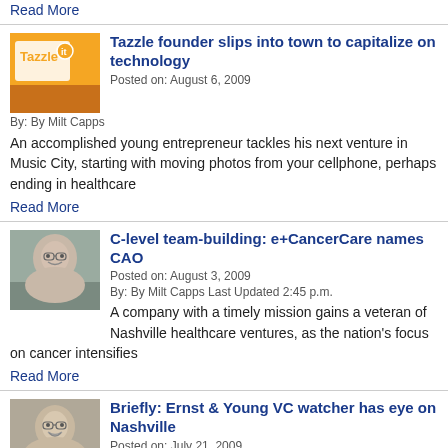Read More
[Figure (photo): Tazzle logo/product image with orange branding]
Tazzle founder slips into town to capitalize on technology
Posted on: August 6, 2009
By: By Milt Capps
An accomplished young entrepreneur tackles his next venture in Music City, starting with moving photos from your cellphone, perhaps ending in healthcare
Read More
[Figure (photo): Head shot of a man with glasses]
C-level team-building: e+CancerCare names CAO
Posted on: August 3, 2009
By: By Milt Capps Last Updated 2:45 p.m.
A company with a timely mission gains a veteran of Nashville healthcare ventures, as the nation's focus on cancer intensifies
Read More
[Figure (photo): Head shot of a smiling man with glasses]
Briefly: Ernst & Young VC watcher has eye on Nashville
Posted on: July 21, 2009
By: By Milt Capps
Keep an eye on what your 'constrained' customer